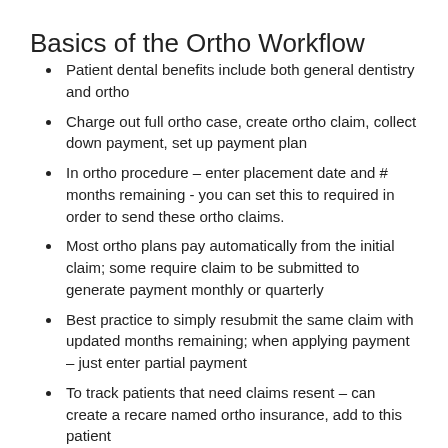Basics of the Ortho Workflow
Patient dental benefits include both general dentistry and ortho
Charge out full ortho case, create ortho claim, collect down payment, set up payment plan
In ortho procedure – enter placement date and # months remaining - you can set this to required in order to send these ortho claims.
Most ortho plans pay automatically from the initial claim; some require claim to be submitted to generate payment monthly or quarterly
Best practice to simply resubmit the same claim with updated months remaining; when applying payment – just enter partial payment
To track patients that need claims resent – can create a recare named ortho insurance, add to this patient